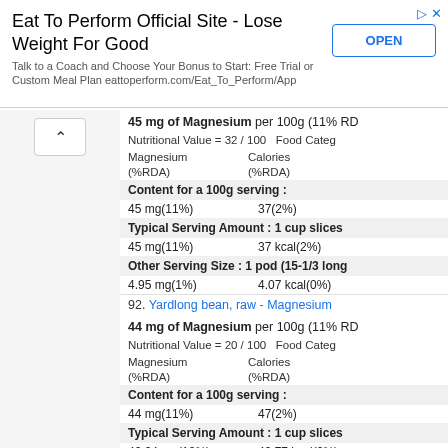[Figure (other): Advertisement banner: Eat To Perform Official Site - Lose Weight For Good with OPEN button]
45 mg of Magnesium per 100g (11% RD...
Nutritional Value = 32 / 100    Food Categ...
Magnesium (%RDA)    Calories (%RDA)
Content for a 100g serving :
45 mg(11%)    37(2%)
Typical Serving Amount : 1 cup slices...
45 mg(11%)    37 kcal(2%)
Other Serving Size : 1 pod (15-1/3 long...
4.95 mg(1%)    4.07 kcal(0%)
92. Yardlong bean, raw - Magnesium
44 mg of Magnesium per 100g (11% RD...
Nutritional Value = 20 / 100    Food Categ...
Magnesium (%RDA)    Calories (%RDA)
Content for a 100g serving :
44 mg(11%)    47(2%)
Typical Serving Amount : 1 cup slices...
40.04 mg(10%)    42.77 kcal(2%)
Other Serving Size : 1 pod (or 12g):